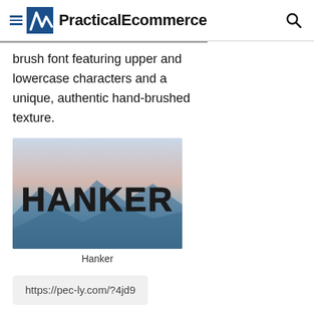PracticalEcommerce
brush font featuring upper and lowercase characters and a unique, authentic hand-brushed texture.
[Figure (photo): Photo showing the word HANKER in a bold hand-brushed font against a blue sky/mountain background]
Hanker
https://pec-ly.com/?4jd9